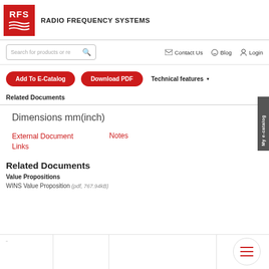RFS — RADIO FREQUENCY SYSTEMS
Search for products or resources | Contact Us | Blog | Login
Add To E-Catalog | Download PDF | Technical features
Related Documents
Dimensions mm(inch)
External Document Links
Notes
Related Documents
Value Propositions
WINS Value Proposition (pdf, 767.94kB)